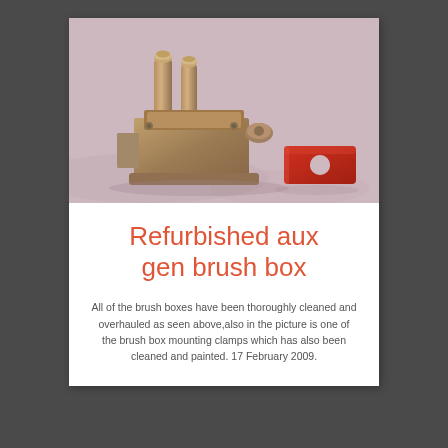[Figure (photo): Photograph of a refurbished auxiliary generator brush box — a metal mechanical component with cylindrical posts/brushes on top, mounted on a cast metal base, alongside a small red rectangular brush box mounting clamp with a circular hole, both resting on a white cloth background.]
Refurbished aux gen brush box
All of the brush boxes have been thoroughly cleaned and overhauled as seen above,also in the picture is one of the brush box mounting clamps which has also been cleaned and painted. 17 February 2009.